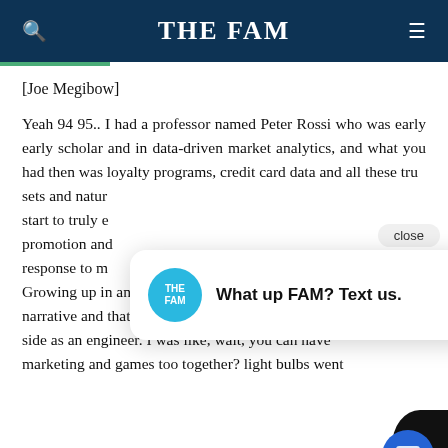THE FAM
[Joe Megibow]
Yeah 94 95.. I had a professor named Peter Rossi who was early early scholar and in data-driven market analytics, and what you had then was loyalty programs, credit card data and all these tru sets and natur start to truly e promotion and response to m Growing up in an artistic family, storytelling, narrative and that I always loved and I liked a side as an engineer. I was like, wait, you can have marketing and games too together? light bulbs went
[Figure (screenshot): Chat popup with 'What up FAM? Text us.' message and THE FAM circular logo, with a close button and a blue chat bubble button]